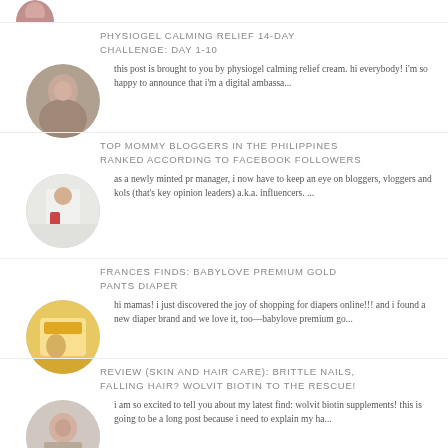[Figure (photo): Partial circular profile photo at top left]
PHYSIOGEL CALMING RELIEF 14-DAY CHALLENGE: DAY 1-10
[Figure (photo): Circular thumbnail of a woman's face]
this post is brought to you by physiogel calming relief cream. hi everybody! i'm so happy to announce that i'm a digital ambassa...
TOP MOMMY BLOGGERS IN THE PHILIPPINES RANKED ACCORDING TO FACEBOOK FOLLOWERS
[Figure (photo): Circular thumbnail of woman sitting at desk]
as a newly minted pr manager, i now have to keep an eye on bloggers, vloggers and kols (that's key opinion leaders) a.k.a. influencers. ...
FRANCES FINDS: BABYLOVE PREMIUM GOLD PANTS DIAPER
[Figure (photo): Circular thumbnail of diaper product]
hi mamas! i just discovered the joy of shopping for diapers online!!! and i found a new diaper brand and we love it, too—babylove premium go...
REVIEW (SKIN AND HAIR CARE): BRITTLE NAILS, FALLING HAIR? WOLVIT BIOTIN TO THE RESCUE!
[Figure (photo): Circular thumbnail of smiling woman holding product]
i am so excited to tell you about my latest find: wolvit biotin supplements! this is going to be a long post because i need to explain my ha...